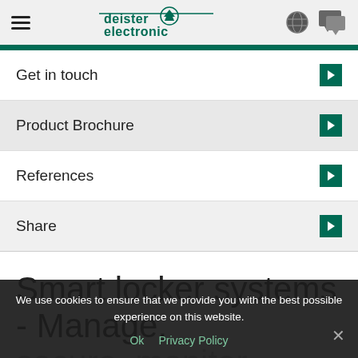deister electronic
Get in touch
Product Brochure
References
Share
Smart locker systems - Manage, secure, monitor valuable company assets.
We use cookies to ensure that we provide you with the best possible experience on this website. Ok Privacy Policy